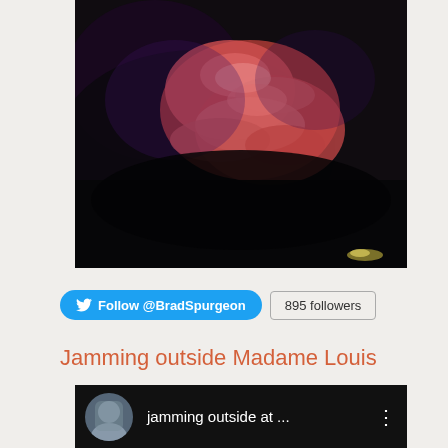[Figure (photo): Dark close-up photograph of hands holding or manipulating something, with reddish/pink tones against a dark background]
Follow @BradSpurgeon   895 followers
Jamming outside Madame Louis
[Figure (screenshot): Video thumbnail showing a profile avatar photo of a person and the text 'jamming outside at ...' with a three-dot menu icon, on a dark background]